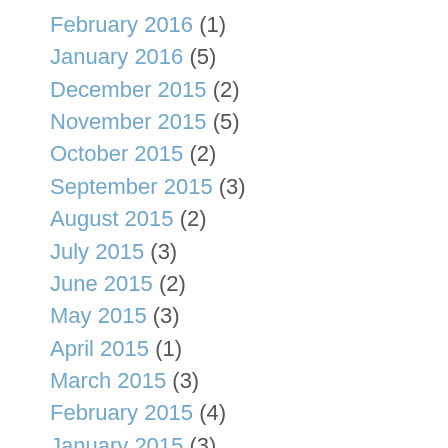February 2016 (1)
January 2016 (5)
December 2015 (2)
November 2015 (5)
October 2015 (2)
September 2015 (3)
August 2015 (2)
July 2015 (3)
June 2015 (2)
May 2015 (3)
April 2015 (1)
March 2015 (3)
February 2015 (4)
January 2015 (3)
December 2014 (4)
November 2014 (6)